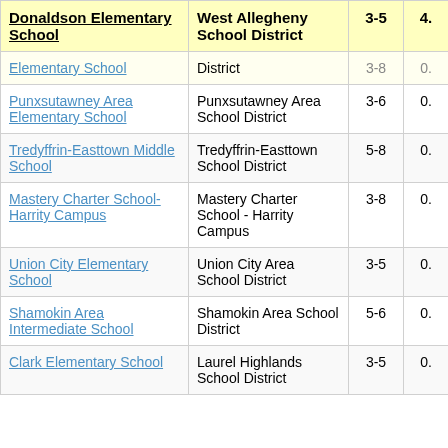| School | District | Grades | Score |
| --- | --- | --- | --- |
| Donaldson Elementary School | West Allegheny School District | 3-5 | 4. |
| Elementary School | District | 3-8 | 0. |
| Punxsutawney Area Elementary School | Punxsutawney Area School District | 3-6 | 0. |
| Tredyffrin-Easttown Middle School | Tredyffrin-Easttown School District | 5-8 | 0. |
| Mastery Charter School-Harrity Campus | Mastery Charter School - Harrity Campus | 3-8 | 0. |
| Union City Elementary School | Union City Area School District | 3-5 | 0. |
| Shamokin Area Intermediate School | Shamokin Area School District | 5-6 | 0. |
| Clark Elementary School | Laurel Highlands School District | 3-5 | 0. |